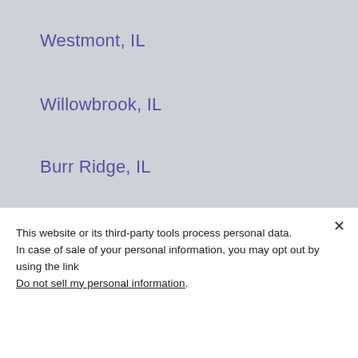Westmont, IL
Willowbrook, IL
Burr Ridge, IL
Plainfield, IL
This website or its third-party tools process personal data. In case of sale of your personal information, you may opt out by using the link Do not sell my personal information.